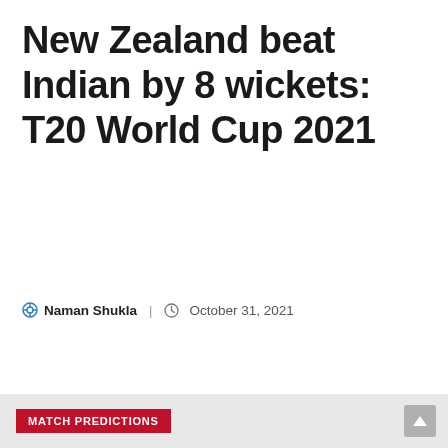New Zealand beat Indian by 8 wickets: T20 World Cup 2021
Naman Shukla | October 31, 2021
MATCH PREDICTIONS